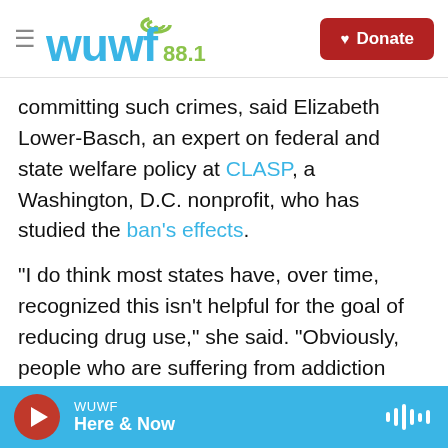WUWF 88.1 — Donate
committing such crimes, said Elizabeth Lower-Basch, an expert on federal and state welfare policy at CLASP, a Washington, D.C. nonprofit, who has studied the ban's effects.
"I do think most states have, over time, recognized this isn't helpful for the goal of reducing drug use," she said. "Obviously, people who are suffering from addiction may not be thinking about the long-term consequences on many levels, and the added punishment does not seem to influence behavior."
The issue gained some traction in West Virginia in
WUWF — Here & Now